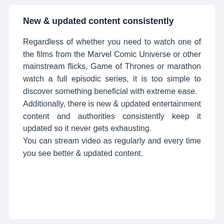New & updated content consistently
Regardless of whether you need to watch one of the films from the Marvel Comic Universe or other mainstream flicks, Game of Thrones or marathon watch a full episodic series, it is too simple to discover something beneficial with extreme ease.
Additionally, there is new & updated entertainment content and authorities consistently keep it updated so it never gets exhausting.
You can stream video as regularly and every time you see better & updated content.